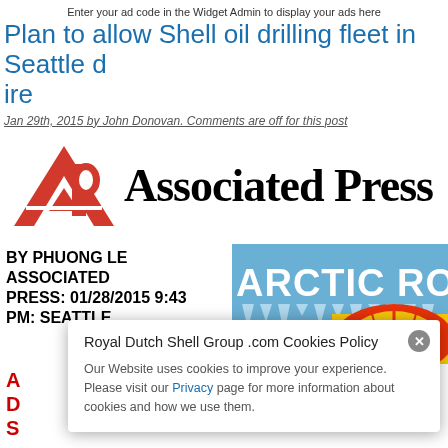Enter your ad code in the Widget Admin to display your ads here
Plan to allow Shell oil drilling fleet in Seattle draws ire
Jan 29th, 2015 by John Donovan. Comments are off for this post
[Figure (logo): Associated Press logo with AP icon in red and black]
BY PHUONG LE ASSOCIATED PRESS: 01/28/2015 9:43 PM: SEATTLE
[Figure (illustration): Arctic Ro... banner image with Shell logo colors and icy styling]
A D S a A
...continuing from...
Royal Dutch Shell Group .com Cookies Policy
Our Website uses cookies to improve your experience. Please visit our Privacy page for more information about cookies and how we use them.